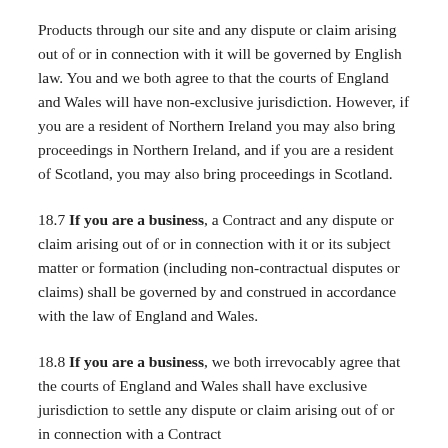Products through our site and any dispute or claim arising out of or in connection with it will be governed by English law. You and we both agree to that the courts of England and Wales will have non-exclusive jurisdiction. However, if you are a resident of Northern Ireland you may also bring proceedings in Northern Ireland, and if you are a resident of Scotland, you may also bring proceedings in Scotland.
18.7 If you are a business, a Contract and any dispute or claim arising out of or in connection with it or its subject matter or formation (including non-contractual disputes or claims) shall be governed by and construed in accordance with the law of England and Wales.
18.8 If you are a business, we both irrevocably agree that the courts of England and Wales shall have exclusive jurisdiction to settle any dispute or claim arising out of or in connection with a Contract or its subject matter or formation (including non-contractual disputes or claims).